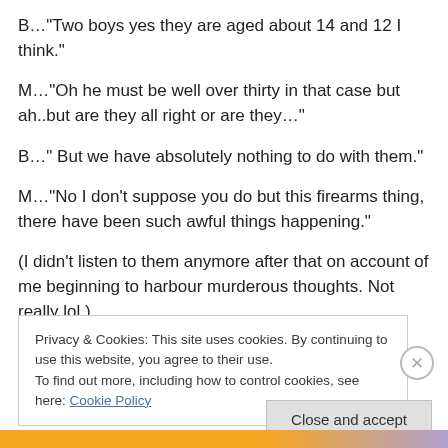B…"Two boys yes they are aged about 14 and 12 I think."
M…"Oh he must be well over thirty in that case but ah..but are they all right or are they…"
B…" But we have absolutely nothing to do with them."
M…"No I don't suppose you do but this firearms thing, there have been such awful things happening."
(I didn't listen to them anymore after that on account of me beginning to harbour murderous thoughts. Not really lol.)
Privacy & Cookies: This site uses cookies. By continuing to use this website, you agree to their use.
To find out more, including how to control cookies, see here: Cookie Policy